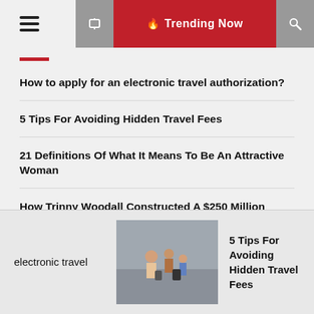Trending Now
How to apply for an electronic travel authorization?
5 Tips For Avoiding Hidden Travel Fees
21 Definitions Of What It Means To Be An Attractive Woman
How Trinny Woodall Constructed A $250 Million Beauty Empire In 4 Years
What's Female Beauty? Part
electronic travel | 5 Tips For Avoiding Hidden Travel Fees